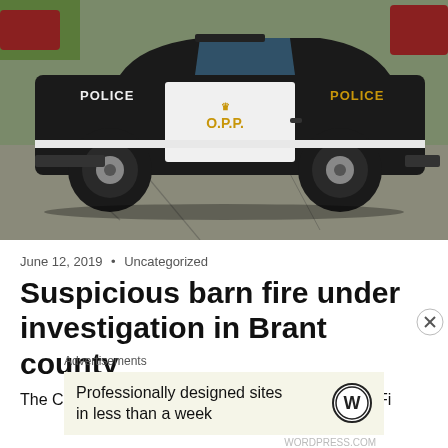[Figure (photo): OPP (Ontario Provincial Police) black and white police car parked on a pavement, showing the side with OPP crown logo and badge number 6-815]
June 12, 2019 • Uncategorized
Suspicious barn fire under investigation in Brant county
The County of Brant Fire Department Office of the Fi...
[Figure (infographic): Advertisement overlay: 'Professionally designed sites in less than a week' with WordPress logo]